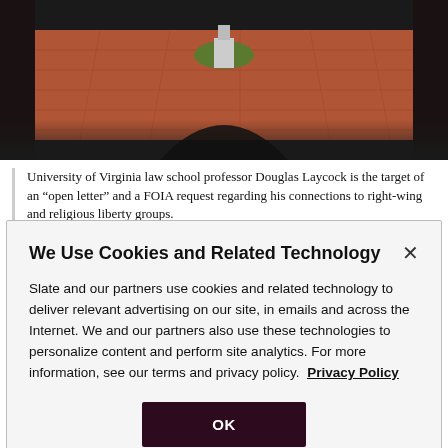[Figure (photo): Aerial or archway view of University of Virginia campus with brick plaza and monument, flanked by dark columns]
University of Virginia law school professor Douglas Laycock is the target of an “open letter” and a FOIA request regarding his connections to right-wing and religious liberty groups.
Courtesy of Karen Blaha/Flickr
We Use Cookies and Related Technology
Slate and our partners use cookies and related technology to deliver relevant advertising on our site, in emails and across the Internet. We and our partners also use these technologies to personalize content and perform site analytics. For more information, see our terms and privacy policy.  Privacy Policy